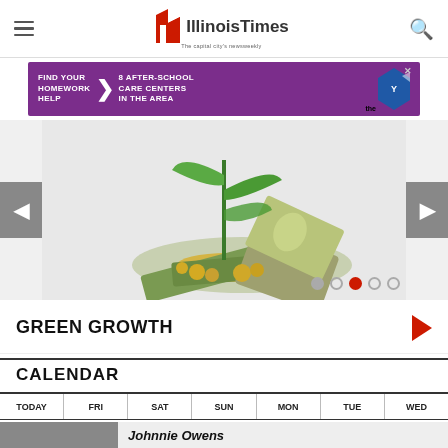Illinois Times — The capital city's newsweekly
[Figure (infographic): Purple advertisement banner: FIND YOUR HOMEWORK HELP 8 AFTER-SCHOOL CARE CENTERS IN THE AREA, with YMCA chevron logo]
[Figure (photo): Slider image showing a green plant seedling growing out of a pile of coins and dollar bills, with left and right navigation arrows and pagination dots]
GREEN GROWTH
CALENDAR
TODAY | FRI | SAT | SUN | MON | TUE | WED
[Figure (photo): Partial bottom image strip with text beginning 'Johnnie Owens']